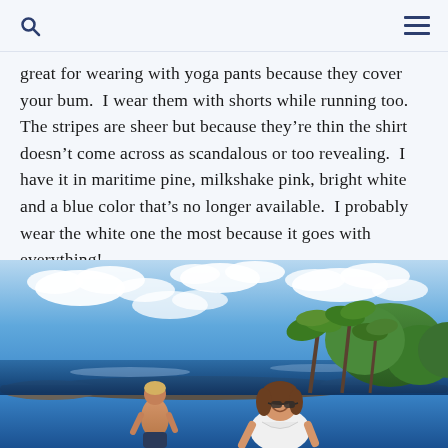[Search icon] [Menu icon]
great for wearing with yoga pants because they cover your bum.  I wear them with shorts while running too.  The stripes are sheer but because they're thin the shirt doesn't come across as scandalous or too revealing.  I have it in maritime pine, milkshake pink, bright white and a blue color that's no longer available.  I probably wear the white one the most because it goes with everything!
[Figure (photo): Outdoor photo at a tropical coastal location. A woman in sunglasses smiles in the foreground wearing a white top. A shirtless person stands to the left near the water. Background shows palm trees, lush green foliage, rocky shoreline, ocean waves, and a blue sky with white clouds.]